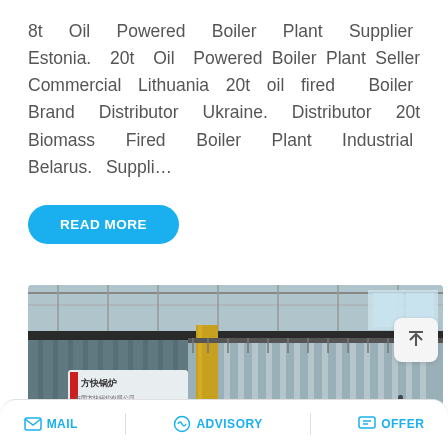8t Oil Powered Boiler Plant Supplier Estonia. 20t Oil Powered Boiler Plant Seller Commercial Lithuania 20t oil fired Boiler Brand Distributor Ukraine. Distributor 20t Biomass Fired Boiler Plant Industrial Belarus. Suppli…
READ MORE
[Figure (photo): Industrial boiler plant with corrugated metal panels, a yellow vertical pipe/column, factory interior with overhead structure, and a Chinese manufacturer sign (方快锅炉). A WhatsApp sticker-saving overlay is visible at the bottom with phone and wechat icons.]
MAIL   ADVISORY   OFFER